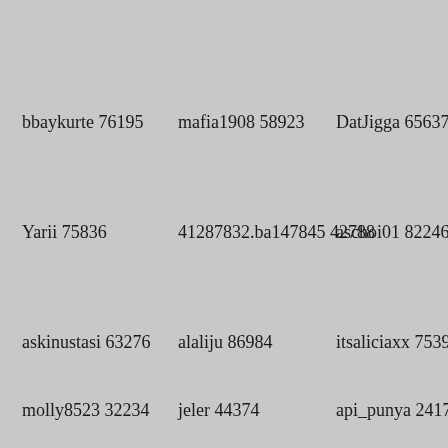bbaykurte 76195
mafia1908 58923
DatJigga 65637
Yarii 75836
41287832.ba147845 42788
aschoi01 82246
askinustasi 63276
alaliju 86984
itsaliciaxx 75396
molly8523 32234
jeler 44374
api_punya 24175